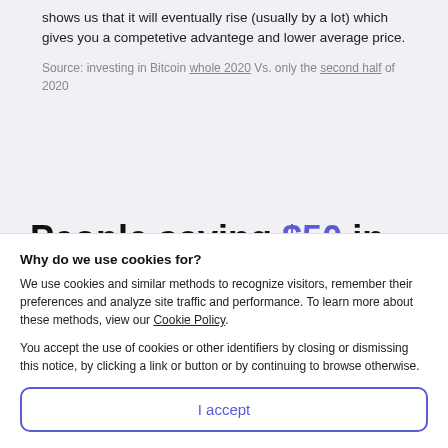shows us that it will eventually rise (usually by a lot) which gives you a competetive advantege and lower average price.
Source: investing in Bitcoin whole 2020 Vs. only the second half of 2020
People saving $50 in Bitcoin per week, over the last three
Why do we use cookies for?
We use cookies and similar methods to recognize visitors, remember their preferences and analyze site traffic and performance. To learn more about these methods, view our Cookie Policy.
You accept the use of cookies or other identifiers by closing or dismissing this notice, by clicking a link or button or by continuing to browse otherwise.